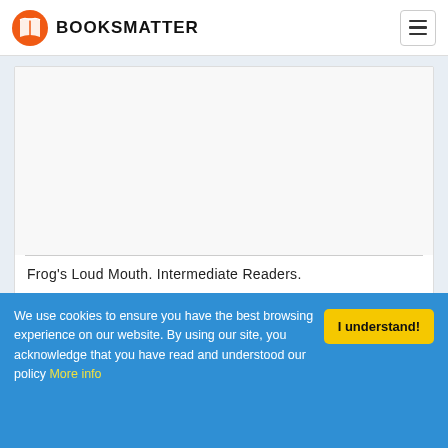BOOKSMATTER
[Figure (other): Book cover image area (white/blank area inside a bordered card)]
Frog's Loud Mouth. Intermediate Readers.
We use cookies to ensure you have the best browsing experience on our website. By using our site, you acknowledge that you have read and understood our policy More info
I understand!